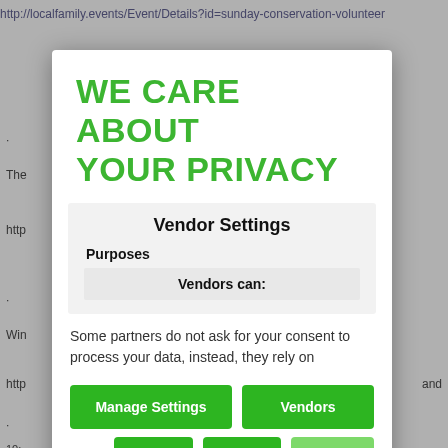http://localfamily.events/Event/Details?id=sunday-conservation-volunteer
WE CARE ABOUT YOUR PRIVACY
Vendor Settings
Purposes
Vendors can:
Some partners do not ask for your consent to process your data, instead, they rely on
Manage Settings
Vendors
Accept All
Reject All
Save & Exit